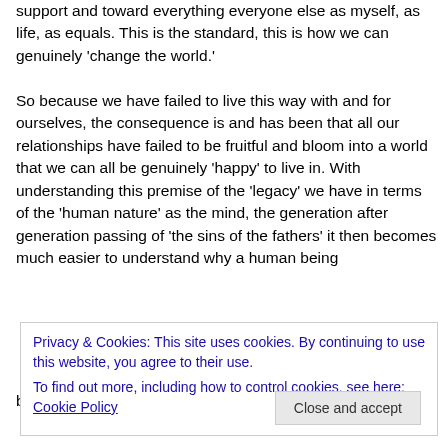support and toward everything everyone else as myself, as life, as equals. This is the standard, this is how we can genuinely 'change the world.'
So because we have failed to live this way with and for ourselves, the consequence is and has been that all our relationships have failed to be fruitful and bloom into a world that we can all be genuinely 'happy' to live in. With understanding this premise of the 'legacy' we have in terms of the 'human nature' as the mind, the generation after generation passing of 'the sins of the fathers' it then becomes much easier to understand why a human being
Privacy & Cookies: This site uses cookies. By continuing to use this website, you agree to their use.
To find out more, including how to control cookies, see here: Cookie Policy
becoming such living example of being the human beings